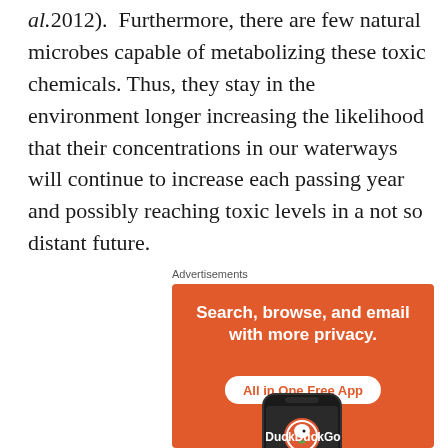al.2012). Furthermore, there are few natural microbes capable of metabolizing these toxic chemicals. Thus, they stay in the environment longer increasing the likelihood that their concentrations in our waterways will continue to increase each passing year and possibly reaching toxic levels in a not so distant future.
Advertisements
[Figure (other): DuckDuckGo advertisement banner with orange background. Text reads 'Search, browse, and email with more privacy. All in One Free App'. Shows a smartphone with DuckDuckGo logo and text 'DuckDuckGo' at the bottom.]